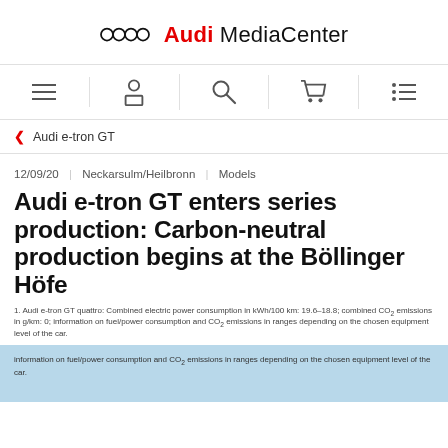Audi MediaCenter
< Audi e-tron GT
12/09/20 | Neckarsulm/Heilbronn | Models
Audi e-tron GT enters series production: Carbon-neutral production begins at the Böllinger Höfe
1. Audi e-tron GT quattro: Combined electric power consumption in kWh/100 km: 19.6–18.8; combined CO₂ emissions in g/km: 0; information on fuel/power consumption and CO₂ emissions in ranges depending on the chosen equipment level of the car.